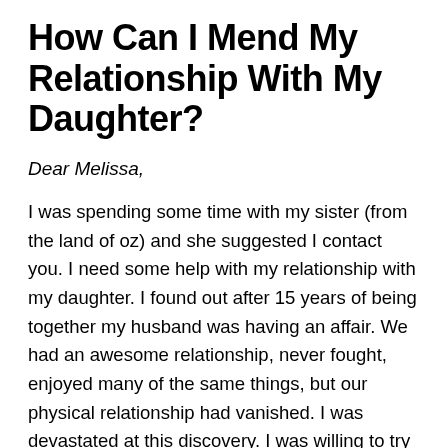How Can I Mend My Relationship With My Daughter?
Dear Melissa,
I was spending some time with my sister (from the land of oz) and she suggested I contact you. I need some help with my relationship with my daughter. I found out after 15 years of being together my husband was having an affair. We had an awesome relationship, never fought, enjoyed many of the same things, but our physical relationship had vanished. I was devastated at this discovery. I was willing to try and work out our issues, but he wanted no part of it. He moved to another city 250 mile away and he filed for divorce. I was in counseling for months. My spouse had a